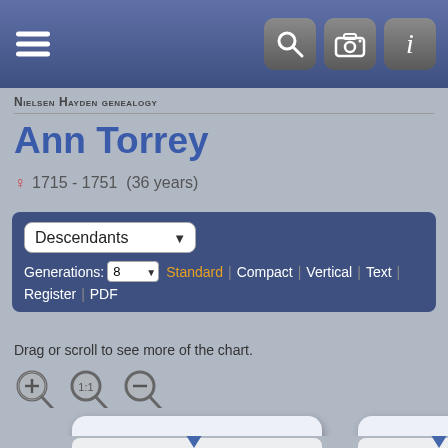Nielsen Hayden genealogy
Ann Torrey
♀ 1715 - 1751  (36 years)
Descendants  Generations: 8  Standard | Compact | Vertical | Text | Register | PDF
Drag or scroll to see more of the chart.
[Figure (other): Zoom in, 1:1, and zoom out control icons]
[Figure (infographic): Genealogy descendants chart showing Ann Torrey (♀ 1715-1751) connected to James Hump... (♂ 1737-181...) with child cards below]
Ann Torrey  ♀  1715-1751
James Hump...  ♂  1737-181...